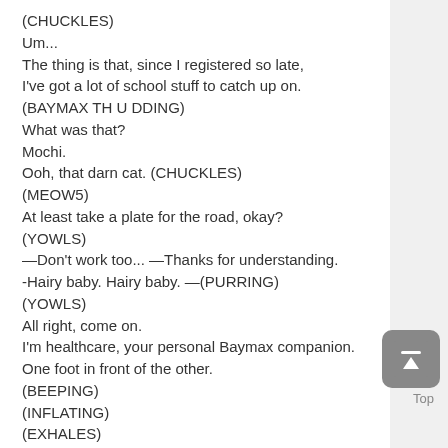(CHUCKLES)
Um...
The thing is that, since I registered so late,
I've got a lot of school stuff to catch up on.
(BAYMAX TH U DDING)
What was that?
Mochi.
Ooh, that darn cat. (CHUCKLES)
(MEOW5)
At least take a plate for the road, okay?
(YOWLS)
—Don't work too... —Thanks for understanding.
-Hairy baby. Hairy baby. —(PURRING)
(YOWLS)
All right, come on.
I'm healthcare, your personal Baymax companion.
One foot in front of the other.
(BEEPING)
(INFLATING)
(EXHALES)
(SIGHS DEEPLY)
This doesn't make any sense.
(SIGHS)